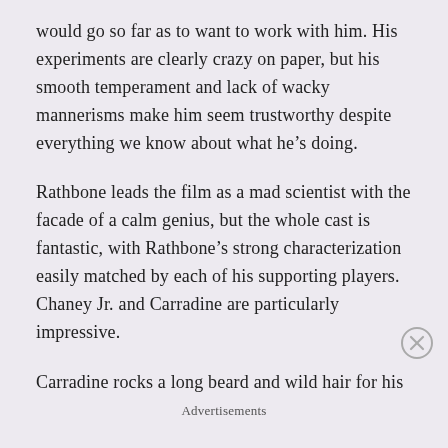would go so far as to want to work with him. His experiments are clearly crazy on paper, but his smooth temperament and lack of wacky mannerisms make him seem trustworthy despite everything we know about what he’s doing.
Rathbone leads the film as a mad scientist with the facade of a calm genius, but the whole cast is fantastic, with Rathbone’s strong characterization easily matched by each of his supporting players. Chaney Jr. and Carradine are particularly impressive.
Carradine rocks a long beard and wild hair for his
Advertisements